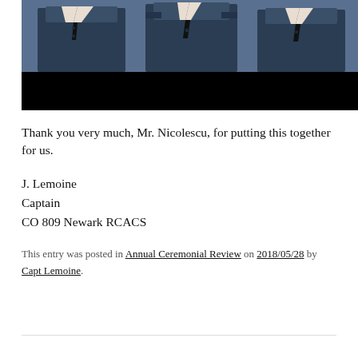[Figure (photo): Partial photo of people in dark navy uniforms/jackets, cropped at top showing collars and upper bodies, with a black redacted/obscured band across the lower portion of the image.]
Thank you very much, Mr. Nicolescu, for putting this together for us.
J. Lemoine
Captain
CO 809 Newark RCACS
This entry was posted in Annual Ceremonial Review on 2018/05/28 by Capt Lemoine.